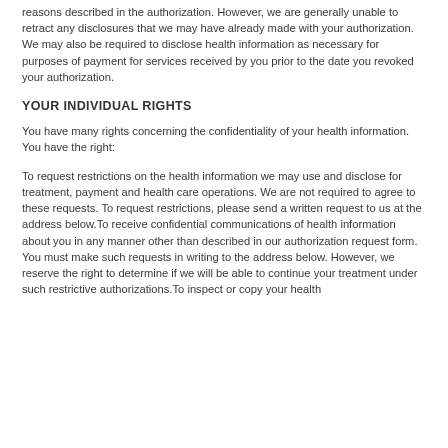reasons described in the authorization. However, we are generally unable to retract any disclosures that we may have already made with your authorization. We may also be required to disclose health information as necessary for purposes of payment for services received by you prior to the date you revoked your authorization.
YOUR INDIVIDUAL RIGHTS
You have many rights concerning the confidentiality of your health information. You have the right:
To request restrictions on the health information we may use and disclose for treatment, payment and health care operations. We are not required to agree to these requests. To request restrictions, please send a written request to us at the address below.To receive confidential communications of health information about you in any manner other than described in our authorization request form. You must make such requests in writing to the address below. However, we reserve the right to determine if we will be able to continue your treatment under such restrictive authorizations.To inspect or copy your health